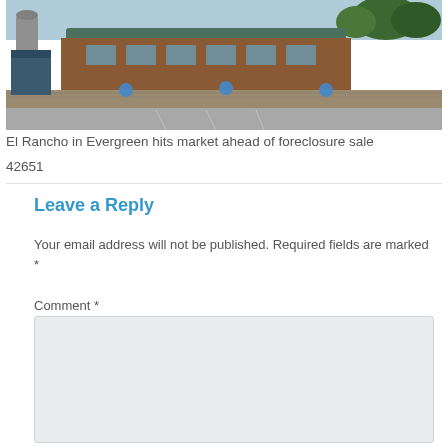[Figure (photo): Exterior photo of El Rancho building in Evergreen — a log-style restaurant/venue with stone wall, green roof, and parking lot in front, with trees visible in background]
El Rancho in Evergreen hits market ahead of foreclosure sale
42651
Leave a Reply
Your email address will not be published. Required fields are marked *
Comment *